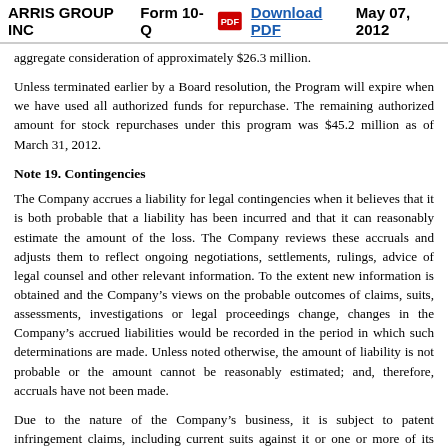ARRIS GROUP INC   Form 10-Q   Download PDF   May 07, 2012
aggregate consideration of approximately $26.3 million.
Unless terminated earlier by a Board resolution, the Program will expire when we have used all authorized funds for repurchase. The remaining authorized amount for stock repurchases under this program was $45.2 million as of March 31, 2012.
Note 19. Contingencies
The Company accrues a liability for legal contingencies when it believes that it is both probable that a liability has been incurred and that it can reasonably estimate the amount of the loss. The Company reviews these accruals and adjusts them to reflect ongoing negotiations, settlements, rulings, advice of legal counsel and other relevant information. To the extent new information is obtained and the Company’s views on the probable outcomes of claims, suits, assessments, investigations or legal proceedings change, changes in the Company’s accrued liabilities would be recorded in the period in which such determinations are made. Unless noted otherwise, the amount of liability is not probable or the amount cannot be reasonably estimated; and, therefore, accruals have not been made.
Due to the nature of the Company’s business, it is subject to patent infringement claims, including current suits against it or one or more of its wholly-owned subsidiaries, or one or more of our customers who may seek indemnification from us, alleging infringement by various Company products and services. The Company believes that it has meritorious defenses to the allegation made in its pending cases and intends to vigorously defend these lawsuits; however, it is currently unable to determine the ultimate outcome of these or similar matters. In addition, the Company is a defendant in various litigation matters generally